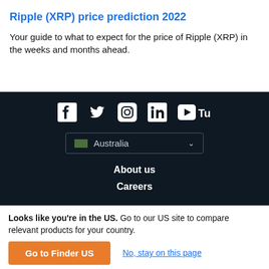Ripple (XRP) price prediction 2022
Your guide to what to expect for the price of Ripple (XRP) in the weeks and months ahead.
[Figure (other): Social media icons: Facebook, Twitter, Instagram, LinkedIn, YouTube displayed in a dark footer section]
Australia (country selector dropdown)
About us
Careers
Looks like you're in the US. Go to our US site to compare relevant products for your country.
Go to Finder US
No, stay on this page